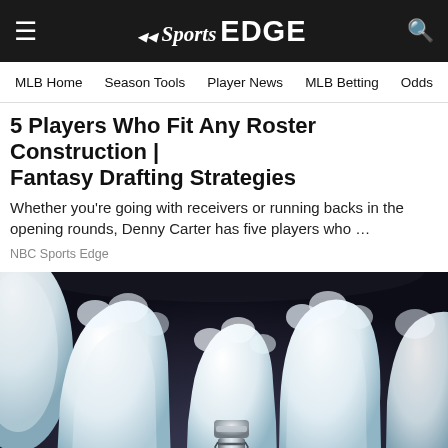NBC Sports EDGE — navigation bar with hamburger menu, logo, search icon
MLB Home  Season Tools  Player News  MLB Betting  Odds
5 Players Who Fit Any Roster Construction | Fantasy Drafting Strategies
Whether you're going with receivers or running backs in the opening rounds, Denny Carter has five players who …
NBC Sports Edge
[Figure (photo): 3D illustration of dental implant among natural teeth on dark gradient background]